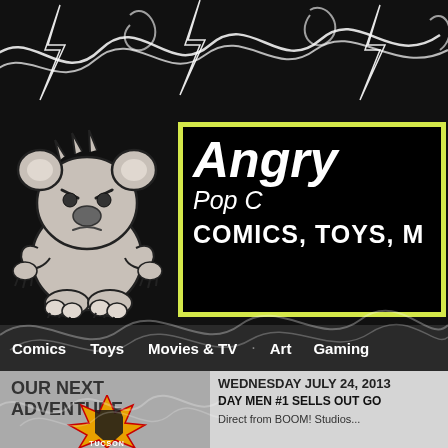[Figure (illustration): Black background decorative header banner with white squiggly lines and lightning bolt shapes]
[Figure (logo): Angry koala bear mascot illustration — grey cartoon koala with angry expression, spiky hair, and claws, sitting position, black and white line art on black background]
Angry Pop COMICS, TOYS,
Comics
Toys
Movies & TV
Art
Gaming
OUR NEXT ADVENTURE
WEDNESDAY JULY 24, 2013
DAY MEN #1 SELLS OUT GO
Direct from BOOM! Studios...
[Figure (logo): Tucson logo/badge — yellow and red starburst design with silhouette of Arizona state and the word TUCSON at the bottom]